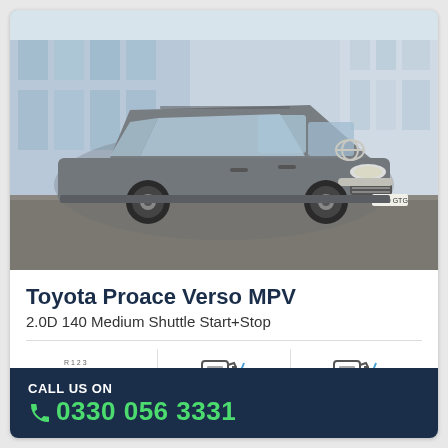[Figure (photo): Toyota Proace Verso MPV grey minivan parked in front of a glass-fronted building, photographed from front-left angle on a brick paved surface]
Toyota Proace Verso MPV
2.0D 140 Medium Shuttle Start+Stop
[Figure (infographic): Three specification icons in a row: gearbox/transmission icon, fuel pump icon, fuel pump icon]
CALL US ON
0330 056 3331